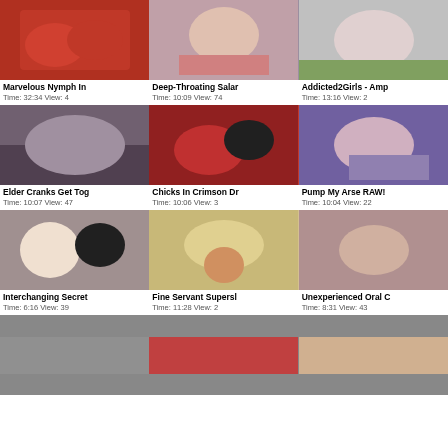[Figure (photo): Thumbnail 1: Marvelous Nymph In]
Marvelous Nymph In
Time: 32:34 View: 4
[Figure (photo): Thumbnail 2: Deep-Throating Salar]
Deep-Throating Salar
Time: 10:09 View: 74
[Figure (photo): Thumbnail 3: Addicted2Girls - Amp]
Addicted2Girls - Amp
Time: 13:16 View: 2
[Figure (photo): Thumbnail 4: Elder Cranks Get Tog]
Elder Cranks Get Tog
Time: 10:07 View: 47
[Figure (photo): Thumbnail 5: Chicks In Crimson Dr]
Chicks In Crimson Dr
Time: 10:06 View: 3
[Figure (photo): Thumbnail 6: Pump My Arse RAW!]
Pump My Arse RAW!
Time: 10:04 View: 22
[Figure (photo): Thumbnail 7: Interchanging Secret]
Interchanging Secret
Time: 6:16 View: 39
[Figure (photo): Thumbnail 8: Fine Servant Supersl]
Fine Servant Supersl
Time: 11:28 View: 2
[Figure (photo): Thumbnail 9: Unexperienced Oral C]
Unexperienced Oral C
Time: 8:31 View: 43
[Figure (photo): Thumbnail 10: partial row]
[Figure (photo): Thumbnail 11: partial row]
[Figure (photo): Thumbnail 12: partial row]